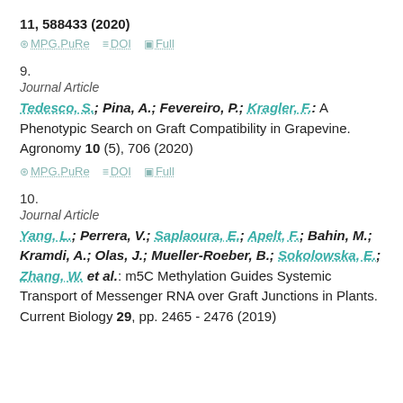11, 588433 (2020)
MPG.PuRe   DOI   Full
9.
Journal Article
Tedesco, S.; Pina, A.; Fevereiro, P.; Kragler, F.: A Phenotypic Search on Graft Compatibility in Grapevine. Agronomy 10 (5), 706 (2020)
MPG.PuRe   DOI   Full
10.
Journal Article
Yang, L.; Perrera, V.; Saplaoura, E.; Apelt, F.; Bahin, M.; Kramdi, A.; Olas, J.; Mueller-Roeber, B.; Sokolowska, E.; Zhang, W. et al.: m5C Methylation Guides Systemic Transport of Messenger RNA over Graft Junctions in Plants. Current Biology 29, pp. 2465 - 2476 (2019)